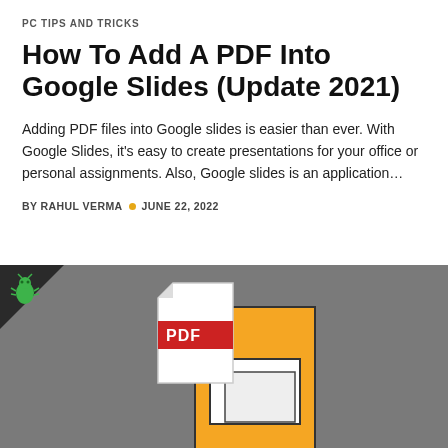PC TIPS AND TRICKS
How To Add A PDF Into Google Slides (Update 2021)
Adding PDF files into Google slides is easier than ever. With Google Slides, it's easy to create presentations for your office or personal assignments. Also, Google slides is an application…
BY RAHUL VERMA • JUNE 22, 2022
[Figure (illustration): Illustration showing a PDF file icon overlaid on a yellow Google Slides document icon, on a dark grey background with a dark triangle in the top-left corner and a small green bug logo.]